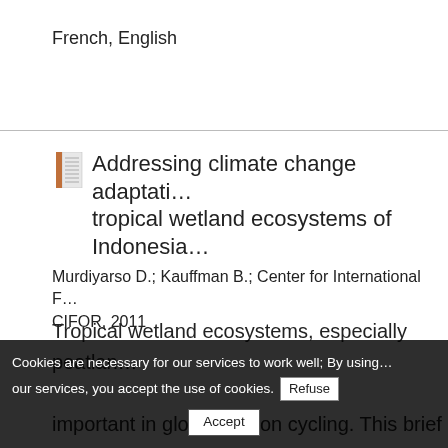French, English
Addressing climate change adaptation in tropical wetland ecosystems of Indonesia
Murdiyarso D.; Kauffman B.; Center for International F... CIFOR, 2011
Tropical wetland ecosystems, especially peatlands, are important in global carbon cycling. This brief note... tropical wetlands than any other country on Earth... are important for both mitigation and adaptation... Indonesia's wetlands and calls for ecosystem-based approaches for communities to manage wetland...